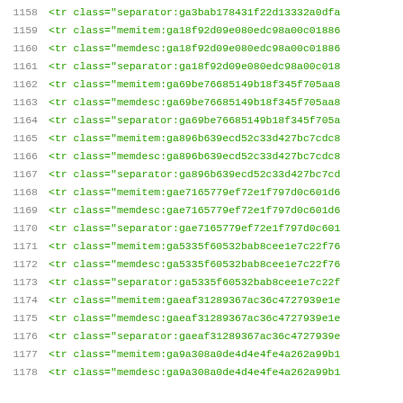1158  <tr class="separator:ga3bab178431f22d13332a0dfa
1159  <tr class="memitem:ga18f92d09e080edc98a00c01886
1160  <tr class="memdesc:ga18f92d09e080edc98a00c01886
1161  <tr class="separator:ga18f92d09e080edc98a00c018
1162  <tr class="memitem:ga69be76685149b18f345f705aa8
1163  <tr class="memdesc:ga69be76685149b18f345f705aa8
1164  <tr class="separator:ga69be76685149b18f345f705a
1165  <tr class="memitem:ga896b639ecd52c33d427bc7cdc8
1166  <tr class="memdesc:ga896b639ecd52c33d427bc7cdc8
1167  <tr class="separator:ga896b639ecd52c33d427bc7cd
1168  <tr class="memitem:gae7165779ef72e1f797d0c601d6
1169  <tr class="memdesc:gae7165779ef72e1f797d0c601d6
1170  <tr class="separator:gae7165779ef72e1f797d0c601
1171  <tr class="memitem:ga5335f60532bab8cee1e7c22f76
1172  <tr class="memdesc:ga5335f60532bab8cee1e7c22f76
1173  <tr class="separator:ga5335f60532bab8cee1e7c22f
1174  <tr class="memitem:gaeaf31289367ac36c4727939e1e
1175  <tr class="memdesc:gaeaf31289367ac36c4727939e1e
1176  <tr class="separator:gaeaf31289367ac36c4727939e
1177  <tr class="memitem:ga9a308a0de4d4e4fe4a262a99b1
1178  <tr class="memdesc:ga9a308a0de4d4e4fe4a262a99b1